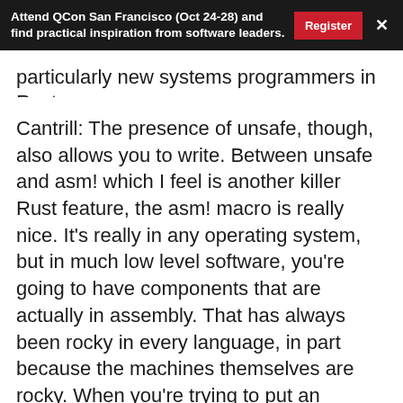Attend QCon San Francisco (Oct 24-28) and find practical inspiration from software leaders. Register ×
particularly new systems programmers in Rust.
Cantrill: The presence of unsafe, though, also allows you to write. Between unsafe and asm! which I feel is another killer Rust feature, the asm! macro is really nice. It's really in any operating system, but in much low level software, you're going to have components that are actually in assembly. That has always been rocky in every language, in part because the machines themselves are rocky. When you're trying to put an abstraction on something that really is not amenable to cross platform abstraction, because it's not cross platform, it's the actual machine. The asm! macro has been really delightful. Between asm! and unsafe, you can write effectively any code in Rust. If you can write it in C,